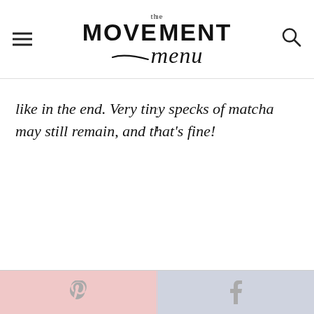the MOVEMENT menu
like in the end. Very tiny specks of matcha may still remain, and that's fine!
Pinterest share | Facebook share